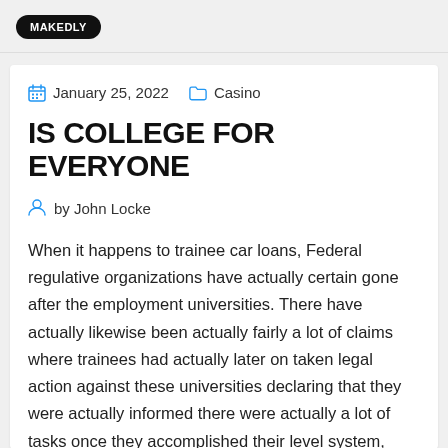MAKEDLY
January 25, 2022   Casino
IS COLLEGE FOR EVERYONE
by John Locke
When it happens to trainee car loans, Federal regulative organizations have actually certain gone after the employment universities. There have actually likewise been actually fairly a lot of claims where trainees had actually later on taken legal action against these universities declaring that they were actually informed there were actually a lot of tasks once they accomplished their level system, once they avoided university there were actually no tasks to become located